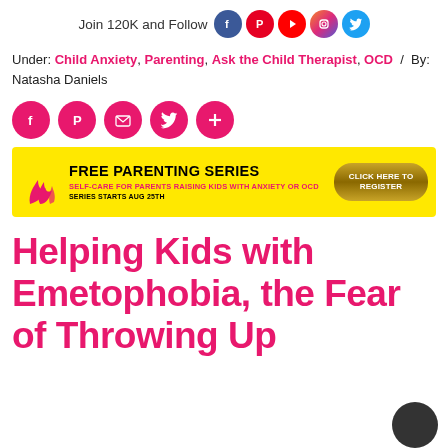Join 120K and Follow [Facebook, Pinterest, YouTube, Instagram, Twitter icons]
Under: Child Anxiety, Parenting, Ask the Child Therapist, OCD / By: Natasha Daniels
[Figure (infographic): Five pink circular social share buttons: Facebook, Pinterest, Email, Twitter, Plus]
[Figure (infographic): Yellow banner ad: FREE PARENTING SERIES - SELF-CARE FOR PARENTS RAISING KIDS WITH ANXIETY OR OCD - SERIES STARTS AUG 25TH - CLICK HERE TO REGISTER button]
Helping Kids with Emetophobia, the Fear of Throwing Up